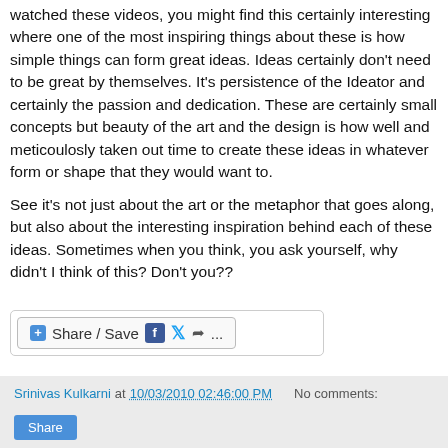watched these videos, you might find this certainly interesting where one of the most inspiring things about these is how simple things can form great ideas. Ideas certainly don't need to be great by themselves. It's persistence of the Ideator and certainly the passion and dedication. These are certainly small concepts but beauty of the art and the design is how well and meticoulosly taken out time to create these ideas in whatever form or shape that they would want to.
See it's not just about the art or the metaphor that goes along, but also about the interesting inspiration behind each of these ideas. Sometimes when you think, you ask yourself, why didn't I think of this? Don't you??
[Figure (other): Share/Save button with Facebook, Twitter, and share icons]
Srinivas Kulkarni at 10/03/2010 02:46:00 PM   No comments:
[Figure (other): Blue Share button]